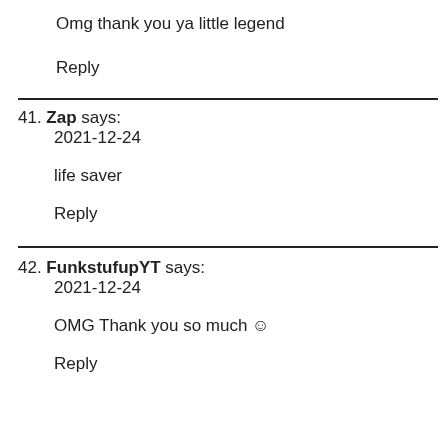Omg thank you ya little legend
Reply
41. Zap says:
2021-12-24

life saver

Reply
42. FunkstufupYT says:
2021-12-24

OMG Thank you so much ☺

Reply